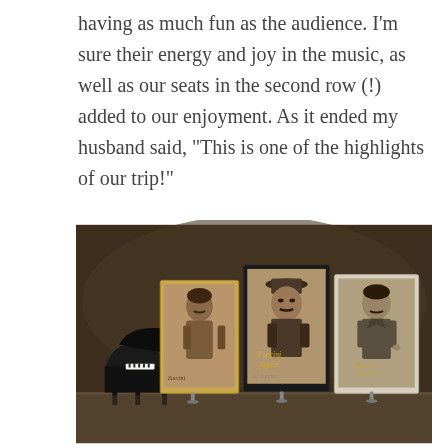having as much fun as the audience. I'm sure their energy and joy in the music, as well as our seats in the second row (!) added to our enjoyment. As it ended my husband said, "This is one of the highlights of our trip!"
[Figure (photo): A concert stage with a grand piano on the left and three large portrait display panels showing vintage black-and-white photographs of men in period dress, with 'Puccini Lucca' text visible on the panels.]